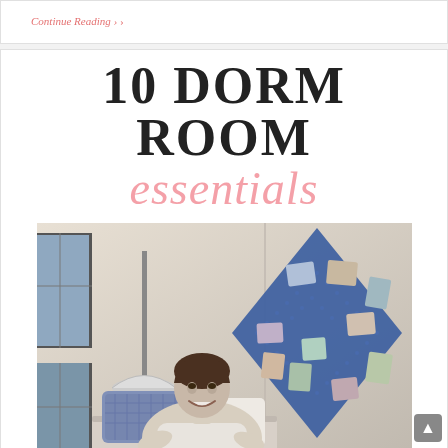Continue Reading >
10 DORM ROOM essentials
[Figure (photo): A smiling young woman sitting in a college dorm room with a blue diamond-shaped pegboard covered in photos behind her, a floor lamp on the left, and a bed with blue patterned pillows.]